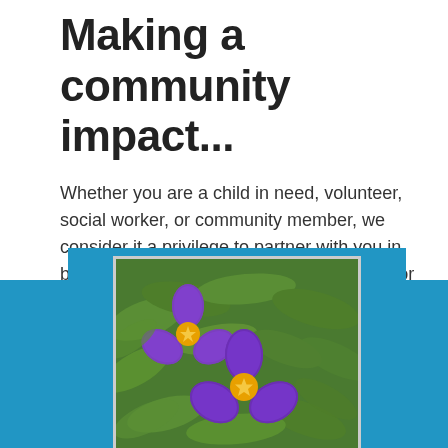Making a community impact...
Whether you are a child in need, volunteer, social worker, or community member, we consider it a privilege to partner with you in building a strong community of resources for foster youth. Foster youth and their families are community members who need temporary help from us all. You are our community, you are our family!
[Figure (photo): Photo of purple flowers with yellow centers surrounded by green leafy foliage, with blue decorative bars on either side of the image.]